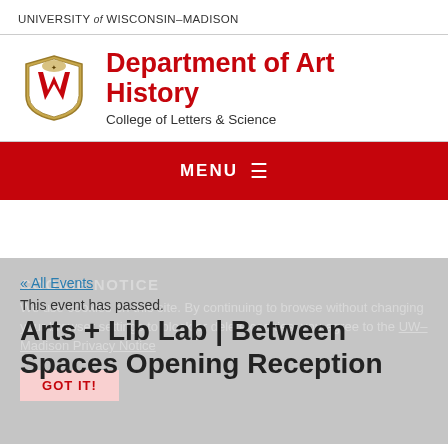UNIVERSITY of WISCONSIN–MADISON
Department of Art History
College of Letters & Science
MENU ≡
« All Events
This event has passed.
COOKIE NOTICE
We use cookies on this site. By continuing to browse without changing your browser settings to block or delete cookies, you agree to the UW–Madison Privacy Notice
GOT IT!
Arts + Lib Lab | Between Spaces Opening Reception